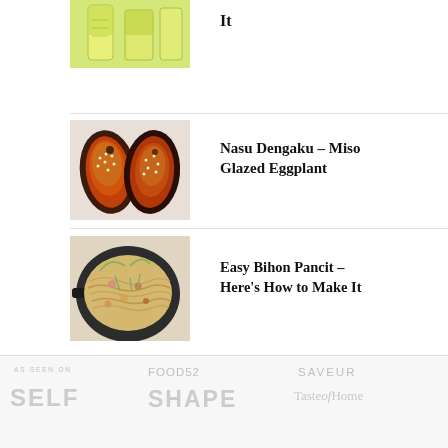[Figure (photo): Partial view of article thumbnail showing green liquid in glass containers]
It
[Figure (photo): Two miso glazed eggplant halves topped with sesame seeds on a white surface]
Nasu Dengaku – Miso Glazed Eggplant
[Figure (photo): A dark pan filled with bihon pancit noodles with vegetables and meat]
Easy Bihon Pancit – Here's How to Make It
AS SEEN ON
SELF
FOOD52
SAVEUR
SHAPE
Taste of Home